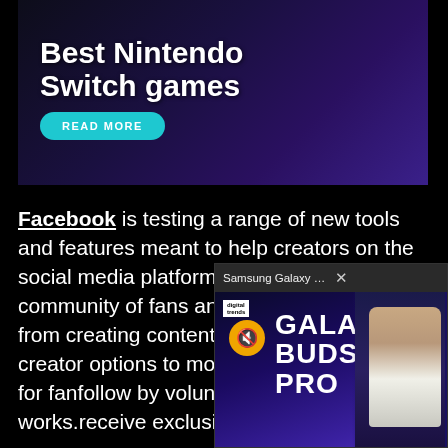[Figure (screenshot): Advertisement banner for 'Best Nintendo Switch games' with a dark gaming background, large white bold text, and a teal 'READ MORE' button]
Facebook is testing a range of new tools and features meant to help creators on the social media platform expand their community of fans and generate income from creating content. The experimental creator tools give creators new options to monetize their followings, such as a way for fans to reward those they follow by voluntarily paying them, similar to how Patreon works. Fans will be able to receive exclusive con
[Figure (screenshot): Video popup overlay showing 'Samsung Galaxy Buds 2 Pro review | Gr...' with a close button, Digital Trends logo, mute button, 'GALAXY BUDS 2 PRO' text, and a presenter holding a small earphone]